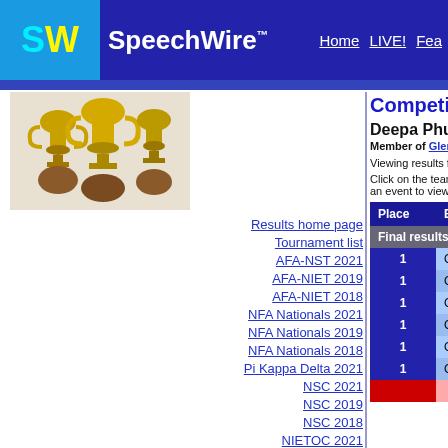SpeechWire™  Home  LIVE!  Fea...
[Figure (photo): Trophy cups held up by hands]
Results home page
Tournament list
AFA-NST 2021
AFA-NIET 2019
AFA-NIET 2018
NFA Nationals 2021
NFA Nationals 2019
NFA Nationals 2018
Pi Kappa Delta 2021
NSC 2021
NSC 2019
NSC 2018
NIETOC 2021
NIETOC 2019
NIETOC 2018
Competitor results
Deepa Phuyal
Member of Glenbard West
Viewing results from 2021-2022. Change sea...
Click on the team name to view results for the... an event to view other results in that event or...
| Place | Event |
| --- | --- |
| Final results |  |
| 1 | Original Oratory (OO) |
| 1 | Original Oratory (OO) |
| 1 | Original Oratory (OO) |
| 1 | Original Oratory (OO) |
| 1 | Original Oratory (OO) |
| 1 | Original Oratory (OO) |
|  |  |